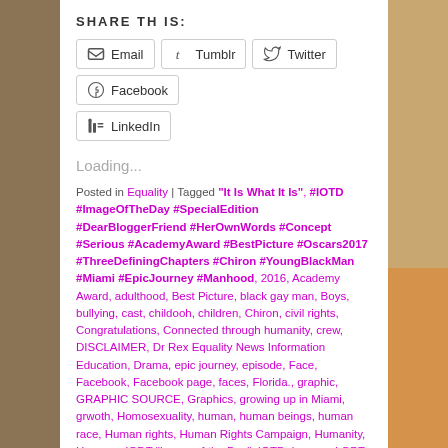SHARE THIS:
Email | Tumblr | Twitter | Facebook | LinkedIn (share buttons)
Loading...
Posted in Equality | Tagged "It Is What It Is", #IOTD #ImageOfTheDay #SpecialEdition #DearBloggerFriend #HerOwnWords #Concept #Serious #AcademyAward #BestPicture #Oscars2017 #ThreeDefiningChapters #Chiron #YoungBlackMan #Miami #EpicJourney #Manhood, 2016, Academy Award, adulthood, Best Picture, black gay man, Boys, bullying, cast, childooh, children, Chiron, civil rights, Congratulations, Connected through humanity, crew, DISCLAIMER, Dr Rex Equality News Information Education, Drama, epic journey, episode, Face, Facebook, Facebook page, faces, Florida., graphic, GRAPHIC SOURCE, Graphics, growing up in Miami, grwoth, Homosexuality, human, human beings, human race, Human rights, Human Rights Campaign, Humanity, Humans, IODT "Image of the Day", IOTD, journey, LGBT community, LGBT community Orlando